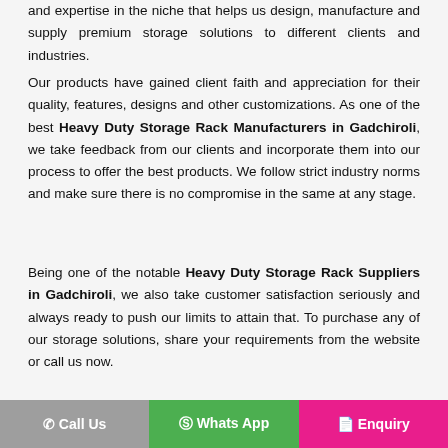and expertise in the niche that helps us design, manufacture and supply premium storage solutions to different clients and industries.
Our products have gained client faith and appreciation for their quality, features, designs and other customizations. As one of the best Heavy Duty Storage Rack Manufacturers in Gadchiroli, we take feedback from our clients and incorporate them into our process to offer the best products. We follow strict industry norms and make sure there is no compromise in the same at any stage.
Being one of the notable Heavy Duty Storage Rack Suppliers in Gadchiroli, we also take customer satisfaction seriously and always ready to push our limits to attain that. To purchase any of our storage solutions, share your requirements from the website or call us now.
Leading The Best Heavy Duty Rack
Call Us
Whats App
Enquiry